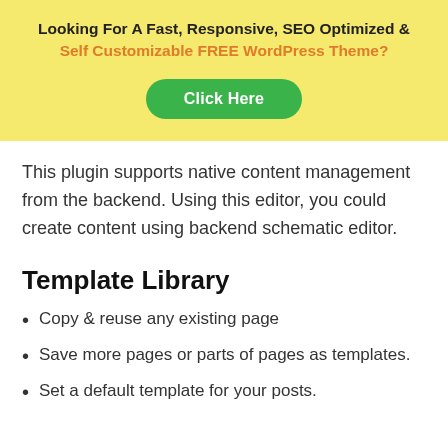[Figure (infographic): Yellow banner with bold text 'Looking For A Fast, Responsive, SEO Optimized & Self Customizable FREE WordPress Theme?' and a green 'Click Here' button]
This plugin supports native content management from the backend. Using this editor, you could create content using backend schematic editor.
Template Library
Copy & reuse any existing page
Save more pages or parts of pages as templates.
Set a default template for your posts.